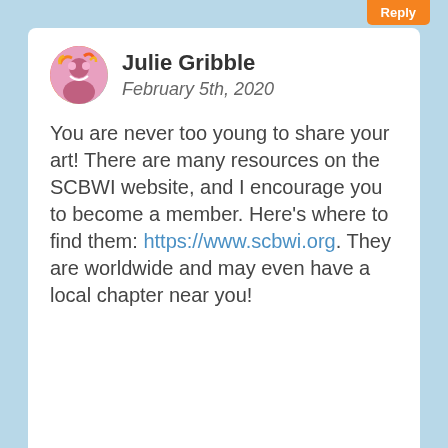Reply
Julie Gribble
February 5th, 2020
You are never too young to share your art! There are many resources on the SCBWI website, and I encourage you to become a member. Here’s where to find them: https://www.scbwi.org. They are worldwide and may even have a local chapter near you!